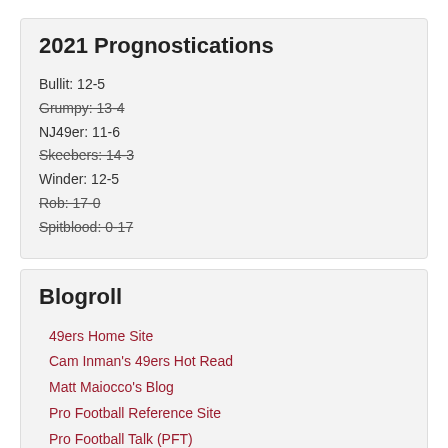2021 Prognostications
Bullit: 12-5
Grumpy: 13-4 (strikethrough)
NJ49er: 11-6
Skeebers: 14-3 (strikethrough)
Winder: 12-5
Rob: 17-0 (strikethrough)
Spitblood: 0-17 (strikethrough)
Blogroll
49ers Home Site
Cam Inman's 49ers Hot Read
Matt Maiocco's Blog
Pro Football Reference Site
Pro Football Talk (PFT)